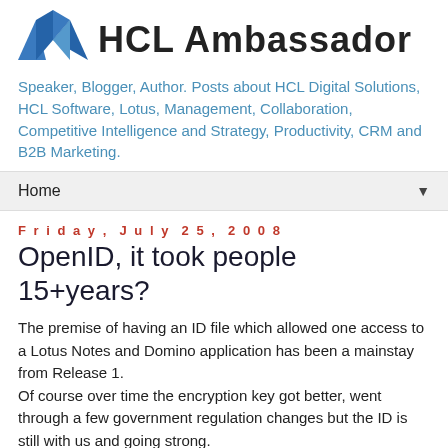[Figure (logo): HCL Ambassador logo with blue diamond/wing shapes on the left and bold text 'HCL Ambassador' on the right]
Speaker, Blogger, Author. Posts about HCL Digital Solutions, HCL Software, Lotus, Management, Collaboration, Competitive Intelligence and Strategy, Productivity, CRM and B2B Marketing.
Home ▼
Friday, July 25, 2008
OpenID, it took people 15+years?
The premise of having an ID file which allowed one access to a Lotus Notes and Domino application has been a mainstay from Release 1.
Of course over time the encryption key got better, went through a few government regulation changes but the ID is still with us and going strong.